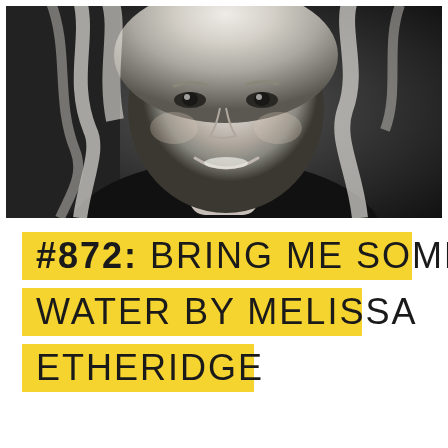[Figure (photo): Black and white portrait photo of a smiling blonde woman with wavy hair, looking at the camera.]
#872: BRING ME SOME WATER BY MELISSA ETHERIDGE